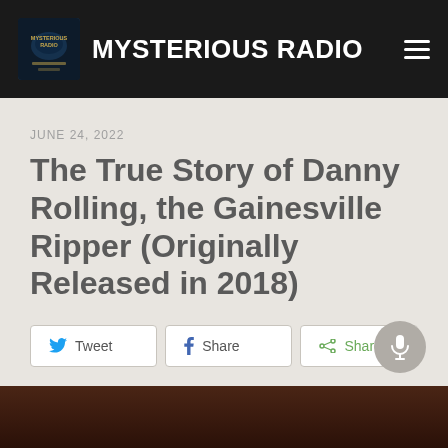MYSTERIOUS RADIO
JUNE 24, 2022
The True Story of Danny Rolling, the Gainesville Ripper (Originally Released in 2018)
[Figure (other): Social sharing buttons: Tweet (Twitter), Share (Facebook), Share (generic), and a microphone button]
[Figure (photo): Bottom strip showing a dark brown image, partially visible]